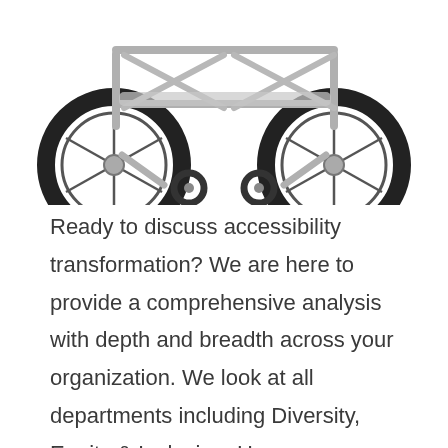[Figure (illustration): Partial view of a manual wheelchair showing the frame, large rear wheels with black tires, front caster wheels, and metallic frame structure, photographed from a front-low angle on a white background.]
Ready to discuss accessibility transformation? We are here to provide a comprehensive analysis with depth and breadth across your organization. We look at all departments including Diversity, Equity & Inclusion, Human Resources, Legal, Marketing, and Technology needs. This is an assessment that can be tailored to meet